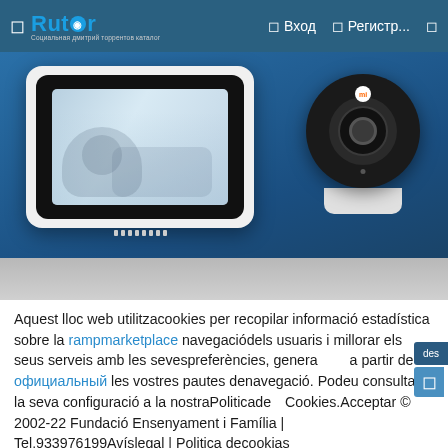Rutor — Вход Регистр...
[Figure (photo): Smart display device with a family photo on screen (left) and a circular Xiaomi security camera with base (right), both on a grey surface against a blue background]
Aquest lloc web utilitzacookies per recopilar informació estadística sobre la rampmarketplace navegaciódels usuaris i millorar els seus serveis amb les sevespreferències, generades a partir de официальный les vostres pautes denavegació. Podeu consultar la seva configuració a la nostraPoliticade Cookies.Acceptar © 2002-22 Fundació Ensenyament i Família | Tel.933976199Avíslegal | Politica decookias